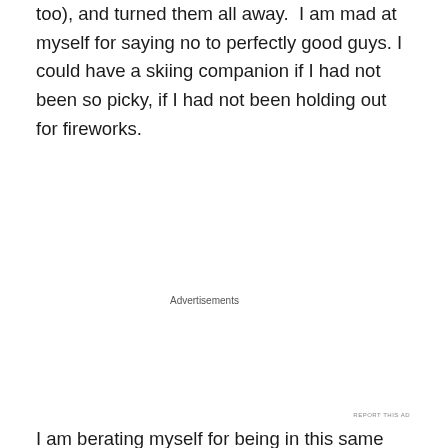too), and turned them all away.  I am mad at myself for saying no to perfectly good guys. I could have a skiing companion if I had not been so picky, if I had not been holding out for fireworks.
Advertisements
[Figure (screenshot): Longreads advertisement banner with black background, Longreads logo (red circle with L), text 'Read anything great lately?' and a red 'Start reading' button.]
I am berating myself for being in this same situation yet